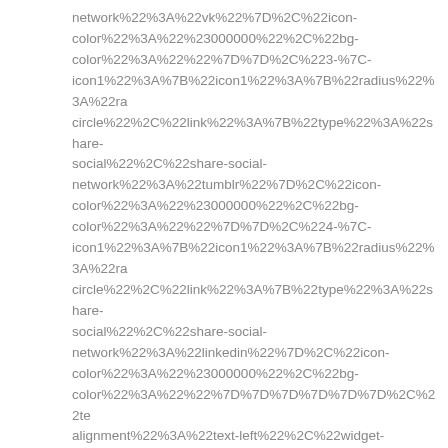network%22%3A%22vk%22%7D%2C%22icon-color%22%3A%22%23000000%22%2C%22bg-color%22%3A%22%22%7D%7D%2C%223-%7C-icon1%22%3A%7B%22icon1%22%3A%7B%22radius%22%3A%22ra circle%22%2C%22link%22%3A%7B%22type%22%3A%22share-social%22%2C%22share-social-network%22%3A%22tumblr%22%7D%2C%22icon-color%22%3A%22%23000000%22%2C%22bg-color%22%3A%22%22%7D%7D%2C%224-%7C-icon1%22%3A%7B%22icon1%22%3A%7B%22radius%22%3A%22ra circle%22%2C%22link%22%3A%7B%22type%22%3A%22share-social%22%2C%22share-social-network%22%3A%22linkedin%22%7D%2C%22icon-color%22%3A%22%23000000%22%2C%22bg-color%22%3A%22%22%7D%7D%7D%7D%7D%7D%2C%22te alignment%22%3A%22text-left%22%2C%22widget-title%22%3A%22%22%2C%22widget-text%22%3A%22%22%2C%22widget-link%22%3A%22%22%2C%22widget-link-hover%22%3A%22%22%2C%22border-line%22%3A%22%23eeeeee%22%7D%7D%7D"][ffb_param